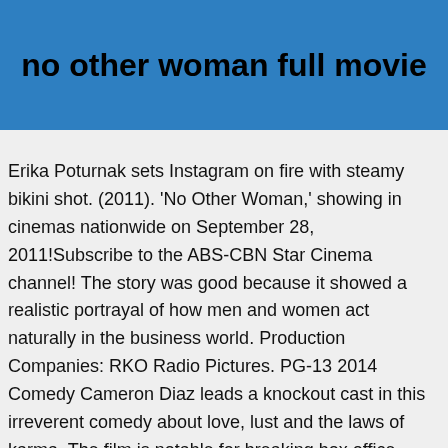no other woman full movie
Erika Poturnak sets Instagram on fire with steamy bikini shot. (2011). 'No Other Woman,' showing in cinemas nationwide on September 28, 2011!Subscribe to the ABS-CBN Star Cinema channel! The story was good because it showed a realistic portrayal of how men and women act naturally in the business world. Production Companies: RKO Radio Pictures. PG-13 2014 Comedy Cameron Diaz leads a knockout cast in this irreverent comedy about love, lust and the laws of karma. The film is notable for breaking box office records in the Philippines.It currently holds the title of third highest grossing Filipino film of all time of 2011 having grossed P278 million but was dethroned by the 2012 Metro Manila Film Fest entry, Sisterakas. Written by Four sisters try to stop the wedding of their younger brother and in doing so, all discover resentments among each other. ON DIGITAL.